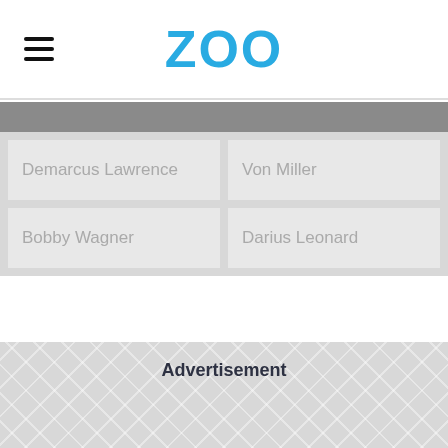ZOO
Demarcus Lawrence
Von Miller
Bobby Wagner
Darius Leonard
Advertisement